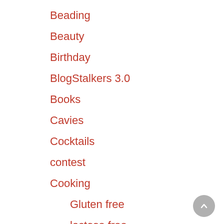Beading
Beauty
Birthday
BlogStalkers 3.0
Books
Cavies
Cocktails
contest
Cooking
Gluten free
lactose free
Vegan
Crochetting